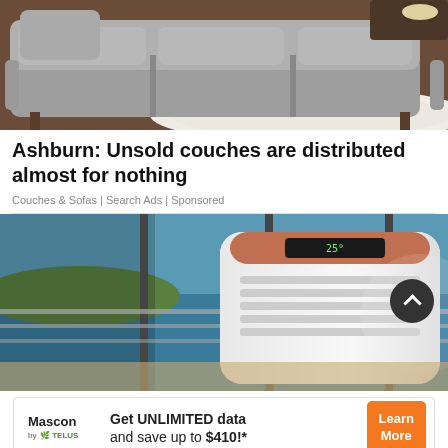[Figure (photo): Photo of a gray sectional sofa with cushions on a white/beige rug on dark hardwood floor]
Ashburn: Unsold couches are distributed almost for nothing
Couches & Sofas | Search Ads | Sponsored
[Figure (photo): Photo of a white portable air conditioner unit with orange/copper top display, set in front of large windows overlooking ocean/water view]
[Figure (other): Mascon by TELUS advertisement banner: Get UNLIMITED data and save up to $410!* with Learn More button]